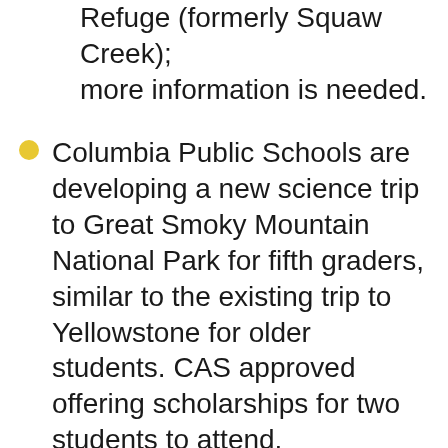Refuge (formerly Squaw Creek); more information is needed.
Columbia Public Schools are developing a new science trip to Great Smoky Mountain National Park for fifth graders, similar to the existing trip to Yellowstone for older students. CAS approved offering scholarships for two students to attend.
The new mural painted on the Elm St. MKT tunnel by local students has been completed; CAS was a primary partner in developing aspects of the artwork.